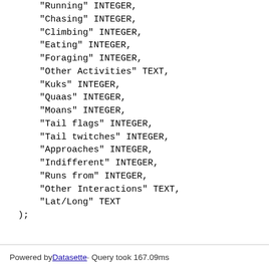"Running" INTEGER,
    "Chasing" INTEGER,
    "Climbing" INTEGER,
    "Eating" INTEGER,
    "Foraging" INTEGER,
    "Other Activities" TEXT,
    "Kuks" INTEGER,
    "Quaas" INTEGER,
    "Moans" INTEGER,
    "Tail flags" INTEGER,
    "Tail twitches" INTEGER,
    "Approaches" INTEGER,
    "Indifferent" INTEGER,
    "Runs from" INTEGER,
    "Other Interactions" TEXT,
    "Lat/Long" TEXT
);
Powered by Datasette · Query took 167.09ms